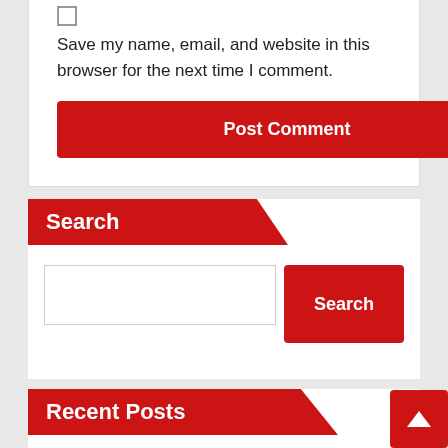Save my name, email, and website in this browser for the next time I comment.
Post Comment
Search
Search
Recent Posts
Är Halloween Ends den sista filmen i serien?